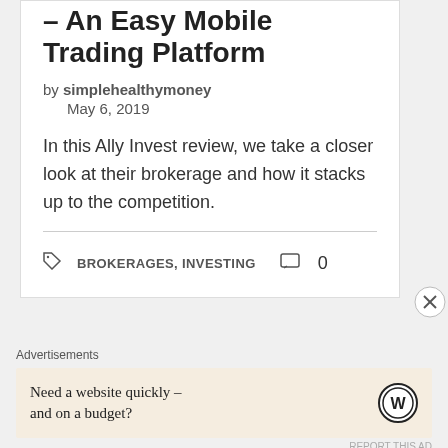– An Easy Mobile Trading Platform
by simplehealthymoney
May 6, 2019
In this Ally Invest review, we take a closer look at their brokerage and how it stacks up to the competition.
BROKERAGES, INVESTING   0
Advertisements
Need a website quickly – and on a budget?